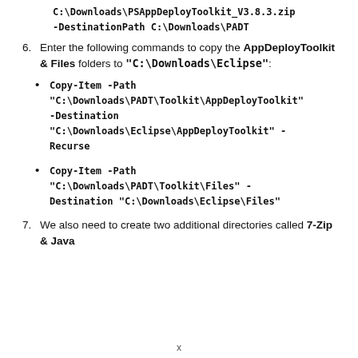C:\Downloads\PSAppDeployToolkit_V3.8.3.zip -DestinationPath C:\Downloads\PADT
6. Enter the following commands to copy the AppDeployToolkit & Files folders to "C:\Downloads\Eclipse":
Copy-Item -Path "C:\Downloads\PADT\Toolkit\AppDeployToolkit" -Destination "C:\Downloads\Eclipse\AppDeployToolkit" -Recurse
Copy-Item -Path "C:\Downloads\PADT\Toolkit\Files" -Destination "C:\Downloads\Eclipse\Files"
7. We also need to create two additional directories called 7-Zip & Java
x